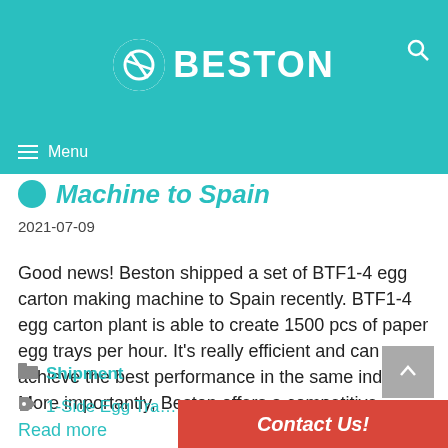BESTON
Machine to Spain
2021-07-09
Good news! Beston shipped a set of BTF1-4 egg carton making machine to Spain recently. BTF1-4 egg carton plant is able to create 1500 pcs of paper egg trays per hour. It's really efficient and can achieve the best performance in the same industry. More importantly, Beston offers a competitive … Read more
Shipment
1-Side Egg Tra…
Contact Us!